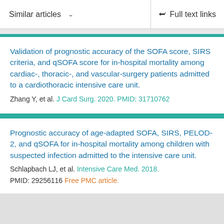Similar articles   Full text links
Validation of prognostic accuracy of the SOFA score, SIRS criteria, and qSOFA score for in-hospital mortality among cardiac-, thoracic-, and vascular-surgery patients admitted to a cardiothoracic intensive care unit.
Zhang Y, et al. J Card Surg. 2020. PMID: 31710762
Prognostic accuracy of age-adapted SOFA, SIRS, PELOD-2, and qSOFA for in-hospital mortality among children with suspected infection admitted to the intensive care unit.
Schlapbach LJ, et al. Intensive Care Med. 2018. PMID: 29256116 Free PMC article.